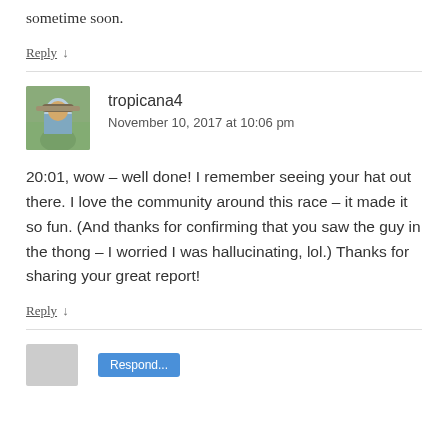sometime soon.
Reply ↓
tropicana4
November 10, 2017 at 10:06 pm
20:01, wow – well done! I remember seeing your hat out there. I love the community around this race – it made it so fun. (And thanks for confirming that you saw the guy in the thong – I worried I was hallucinating, lol.) Thanks for sharing your great report!
Reply ↓